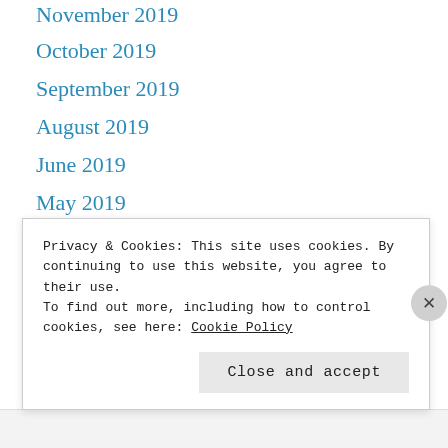November 2019
October 2019
September 2019
August 2019
June 2019
May 2019
April 2019
March 2019
February 2019
January 2019
Privacy & Cookies: This site uses cookies. By continuing to use this website, you agree to their use.
To find out more, including how to control cookies, see here: Cookie Policy
Close and accept